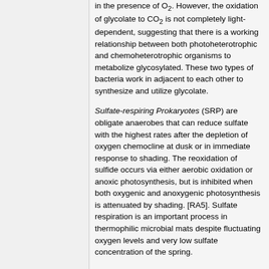in the presence of O2. However, the oxidation of glycolate to CO2 is not completely light-dependent, suggesting that there is a working relationship between both photoheterotrophic and chemoheterotrophic organisms to metabolize glycosylated. These two types of bacteria work in adjacent to each other to synthesize and utilize glycolate.
Sulfate-respiring Prokaryotes (SRP) are obligate anaerobes that can reduce sulfate with the highest rates after the depletion of oxygen chemocline at dusk or in immediate response to shading. The reoxidation of sulfide occurs via either aerobic oxidation or anoxic photosynthesis, but is inhibited when both oxygenic and anoxygenic photosynthesis is attenuated by shading. [RA5]. Sulfate respiration is an important process in thermophilic microbial mats despite fluctuating oxygen levels and very low sulfate concentration of the spring.
Octopus Springs